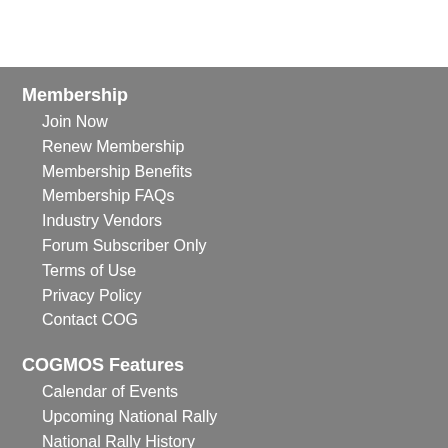Membership
Join Now
Renew Membership
Membership Benefits
Membership FAQs
Industry Vendors
Forum Subscriber Only
Terms of Use
Privacy Policy
Contact COG
COGMOS Features
Calendar of Events
Upcoming National Rally
National Rally History
Common Questions
Forum
COG Member Library